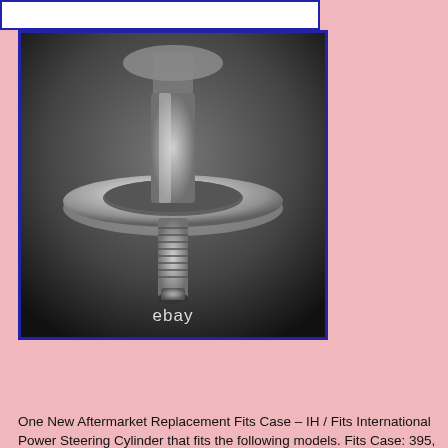[Figure (photo): Close-up photo of a metal power steering cylinder component showing a threaded bolt/shaft end with a circular disc flange, photographed on a light surface. eBay watermark visible at bottom.]
More info on eBay
One New Aftermarket Replacement Fits Case – IH / Fits International Power Steering Cylinder that fits the following models. Fits Case: 395, 485, 485XL, 495, 495XL, 585, 585XL, 595, 595XL, 684, 685XL, 884, 885, 885XL, 895, 895XL, 3210, 3220, 3230, 421 4340. Fits International: 333, 343, 353, 383, 385, 454, 4546...